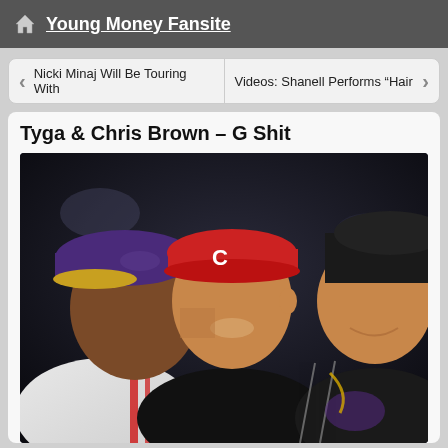Young Money Fansite
< Nicki Minaj Will Be Touring With | Videos: Shanell Performs "Hair >
Tyga & Chris Brown – G Shit
[Figure (photo): Three men sitting together, one wearing a Lakers cap on the left, one in the center wearing a red Cincinnati Reds cap and black jacket, and one on the right wearing a black beanie and black striped jacket with a chain necklace.]